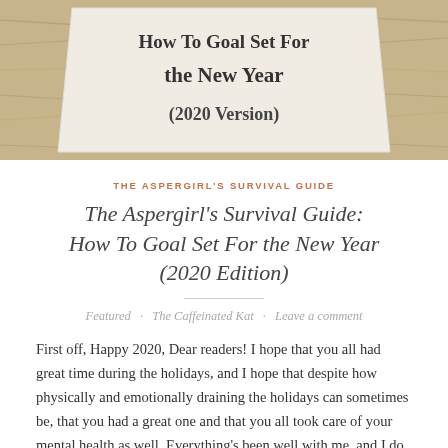[Figure (photo): Blog post hero image showing a wooden sign or board with text 'How To Goal Set For the New Year (2020 Version)' displayed on a light wood plank background]
THE ASPERGIRL'S SURVIVAL GUIDE
The Aspergirl's Survival Guide: How To Goal Set For the New Year (2020 Edition)
Featured · The Caffeinated Kat · Leave a comment
First off, Happy 2020, Dear readers! I hope that you all had great time during the holidays, and I hope that despite how physically and emotionally draining the holidays can sometimes be, that you had a great one and that you all took care of your mental health as well. Everything's been well with me, and I do apologize for